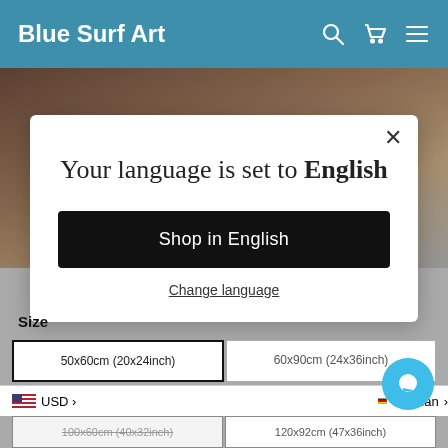Blue Surf Art
[Figure (screenshot): Background photo of a person with brown hair, blurred]
Your language is set to English
Shop in English
Change language
Size
50x60cm (20x24inch)
60x90cm (24x36inch)
USD
German
100x60cm (40x32inch)
120x92cm (47x36inch)